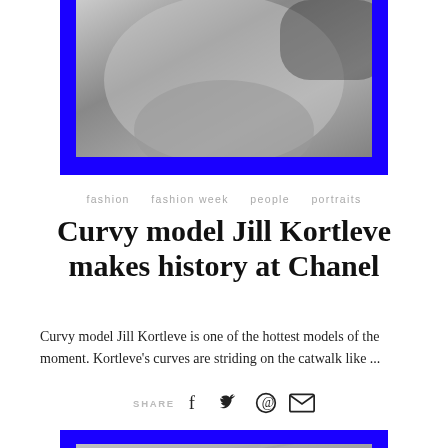[Figure (photo): Black and white photo of a curvy model (Jill Kortleve) in a seated pose, with tattoos visible on her legs, framed with blue borders on left, right, and bottom]
fashion   fashion week   people   portraits
Curvy model Jill Kortleve makes history at Chanel
Curvy model Jill Kortleve is one of the hottest models of the moment. Kortleve's curves are striding on the catwalk like ...
SHARE
[Figure (photo): Black and white photo (partially visible) with blue border at the top, showing what appears to be a runway or fashion scene]